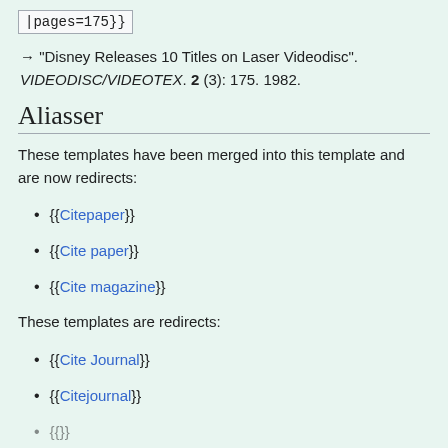|pages=175}}
→ "Disney Releases 10 Titles on Laser Videodisc". VIDEODISC/VIDEOTEX. 2 (3): 175. 1982.
Aliasser
These templates have been merged into this template and are now redirects:
{{Citepaper}}
{{Cite paper}}
{{Cite magazine}}
These templates are redirects:
{{Cite Journal}}
{{Citejournal}}